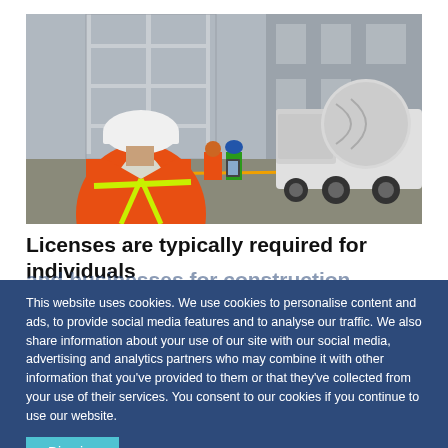[Figure (photo): Construction site photo showing a worker in an orange high-visibility vest and white hard hat viewed from behind, with other workers and a concrete mixer truck in the background.]
Licenses are typically required for individuals and businesses for construction...
This website uses cookies. We use cookies to personalise content and ads, to provide social media features and to analyse our traffic. We also share information about your use of our site with our social media, advertising and analytics partners who may combine it with other information that you've provided to them or that they've collected from your use of their services. You consent to our cookies if you continue to use our website.